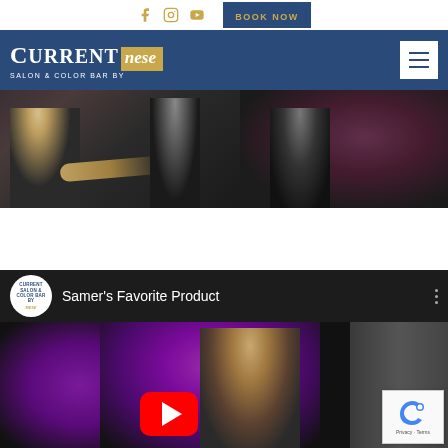Current Salon & Color Bar by Nese — social icons and BOOK NOW button
[Figure (screenshot): Website navigation bar with Current Salon & Color Bar by Nese logo on blue background and hamburger menu icon]
[Figure (photo): Hero image strip showing salon staff in dark setting]
[Figure (screenshot): YouTube video embed titled Samer's Favorite Product showing a presenter in front of a purple/pink bokeh background with play button overlay]
[Figure (logo): reCAPTCHA badge with Privacy and Terms text]